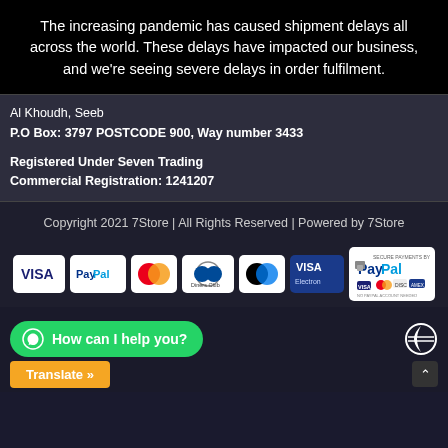The increasing pandemic has caused shipment delays all across the world. These delays have impacted our business, and we're seeing severe delays in order fulfilment.
Al Khoudh, Seeb
P.O Box: 3797 POSTCODE 900, Way number 3433
Registered Under Seven Trading
Commercial Registration: 1241207
Copyright 2021 7Store | All Rights Reserved | Powered by 7Store
[Figure (logo): Payment method icons: VISA, PayPal, Mastercard, Diners Club, Maestro, VISA Electron, Secure Payments by PayPal badge]
How can I help you?
Translate »